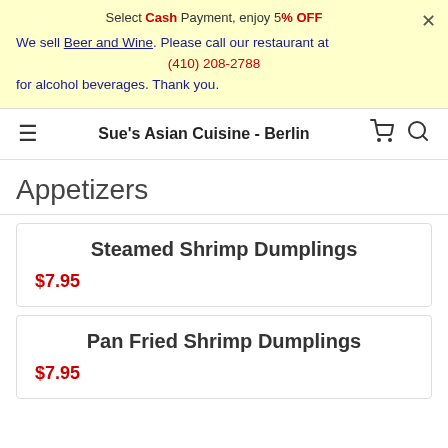Select Cash Payment, enjoy 5% OFF
We sell Beer and Wine. Please call our restaurant at (410) 208-2788 for alcohol beverages. Thank you.
Sue's Asian Cuisine - Berlin
Appetizers
Steamed Shrimp Dumplings
$7.95
Pan Fried Shrimp Dumplings
$7.95